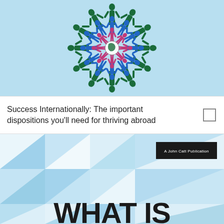[Figure (illustration): Light blue background with a circular snowflake-like arrangement of human figures in green, blue, and pink/magenta colors, forming a mandala pattern around a central globe motif]
Success Internationally: The important dispositions you'll need for thriving abroad
[Figure (illustration): Book cover with geometric triangular pattern in shades of blue and white, a black publisher tag reading 'A John Catt Publication' and large bold text 'WHAT IS' at the bottom]